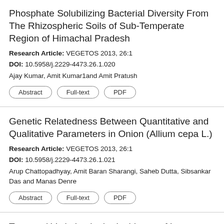Phosphate Solubilizing Bacterial Diversity From The Rhizospheric Soils of Sub-Temperate Region of Himachal Pradesh
Research Article: VEGETOS 2013, 26:1
DOI: 10.5958/j.2229-4473.26.1.020
Ajay Kumar, Amit Kumar1and Amit Pratush
Genetic Relatedness Between Quantitative and Qualitative Parameters in Onion (Allium cepa L.)
Research Article: VEGETOS 2013, 26:1
DOI: 10.5958/j.2229-4473.26.1.021
Arup Chattopadhyay, Amit Baran Sharangi, Saheb Dutta, Sibsankar Das and Manas Denre
Temporal Variation in the Incidence of Legume Pod Borer, Maruca vitrata Geyer (Lepidoptera: Crambidae) on Cowpea and Lablab and its